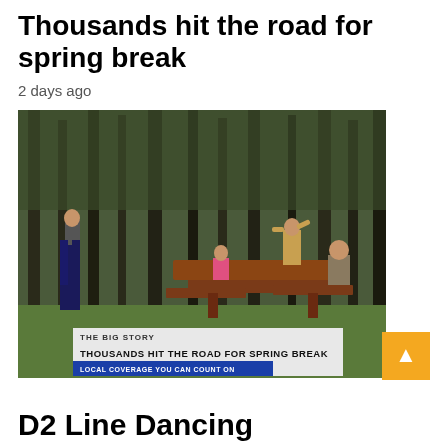Thousands hit the road for spring break
2 days ago
[Figure (photo): News video screenshot showing people at a picnic table outdoors in a park with trees. Lower-third TV chyron reads 'THE BIG STORY / THOUSANDS HIT THE ROAD FOR SPRING BREAK / LOCAL COVERAGE YOU CAN COUNT ON']
D2 Line Dancing